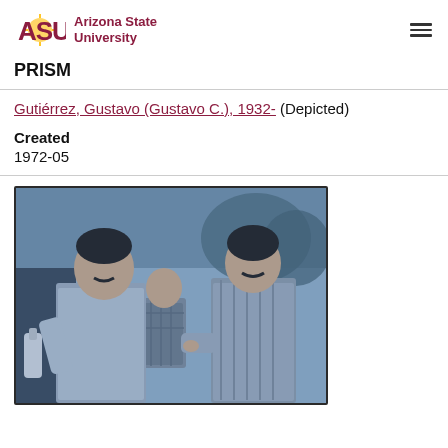[Figure (logo): Arizona State University logo with ASU text in maroon and gold sunburst, with 'Arizona State University' text beside it]
PRISM
Gutiérrez, Gustavo (Gustavo C.), 1932- (Depicted)
Created
1972-05
[Figure (photo): Black and white (blue-tinted) photograph from 1972 showing three men outdoors. The man on the left is holding a bottle and appears to be talking to the man on the right. A third man stands in the background between them. Trees are visible in the background.]